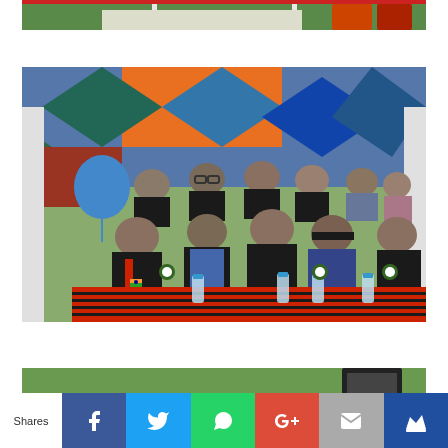[Figure (photo): Top cropped portion of an outdoor event photo showing a decorated stage/tent with colorful fabric]
[Figure (photo): Group of people seated in a VIP gallery at an outdoor event, wearing traditional Naga black attire with decorative badges, colorful geometric patterned backdrop, red and black striped table cover, water bottles on table, blue balloon visible on left, white tent pillars]
[Figure (photo): Partial view of another outdoor event photo showing green grass field]
Shares
[Figure (infographic): Social share bar with Facebook, Twitter, WhatsApp, Google+, Email, and crown/Sumo icons]